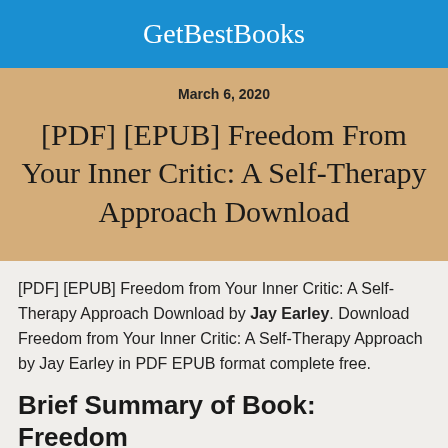GetBestBooks
March 6, 2020
[PDF] [EPUB] Freedom From Your Inner Critic: A Self-Therapy Approach Download
[PDF] [EPUB] Freedom from Your Inner Critic: A Self-Therapy Approach Download by Jay Earley. Download Freedom from Your Inner Critic: A Self-Therapy Approach by Jay Earley in PDF EPUB format complete free.
Brief Summary of Book: Freedom